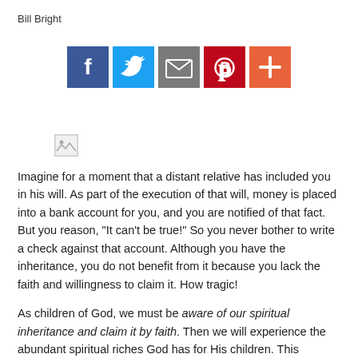Bill Bright
[Figure (infographic): Row of 5 social sharing buttons: Facebook (dark blue, f icon), Twitter (light blue, bird icon), Email (gray, envelope icon), Pinterest (dark red, P icon), Add/Plus (orange-red, + icon)]
[Figure (photo): Broken/placeholder image icon]
Imagine for a moment that a distant relative has included you in his will. As part of the execution of that will, money is placed into a bank account for you, and you are notified of that fact. But you reason, "It can't be true!" So you never bother to write a check against that account. Although you have the inheritance, you do not benefit from it because you lack the faith and willingness to claim it. How tragic!
As children of God, we must be aware of our spiritual inheritance and claim it by faith. Then we will experience the abundant spiritual riches God has for His children. This